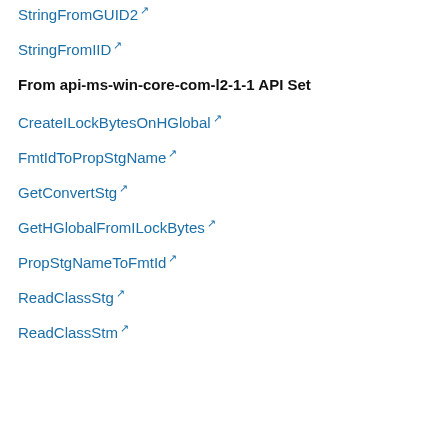StringFromGUID2
StringFromIID
From api-ms-win-core-com-l2-1-1 API Set
CreateILockBytesOnHGlobal
FmtIdToPropStgName
GetConvertStg
GetHGlobalFromILockBytes
PropStgNameToFmtId
ReadClassStg
ReadClassStm